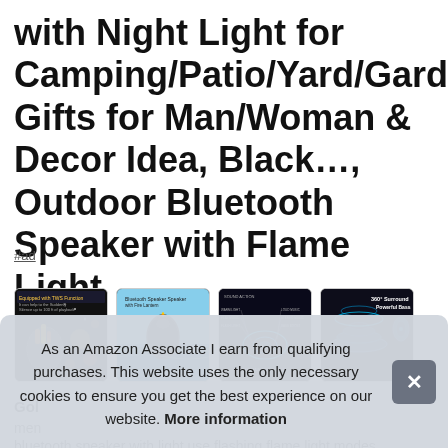with Night Light for Camping/Patio/Yard/Garden/Party, Gifts for Man/Woman & Decor Idea, Black…, Outdoor Bluetooth Speaker with Flame Light
#ad
[Figure (photo): Four product thumbnail images showing a Bluetooth speaker with flame light effect, speaker near beach, technical diagram, and speaker components]
Gol
men
bluetooth speaker with light use flashing flame light modes
As an Amazon Associate I earn from qualifying purchases. This website uses the only necessary cookies to ensure you get the best experience on our website. More information